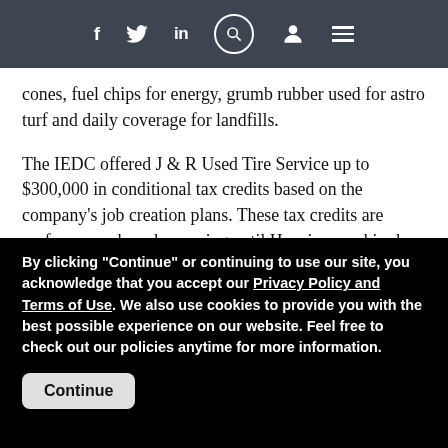Navigation bar with social icons (Facebook, Twitter, LinkedIn), search, user, and menu
cones, fuel chips for energy, grumb rubber used for astro turf and daily coverage for landfills.
The IEDC offered J & R Used Tire Service up to $300,000 in conditional tax credits based on the company's job creation plans. These tax credits are performance-based, meaning until Hoosiers are hired, the company is not eligible to claim incentives. The Vermillion Rise Mega Park, a 7,000-acre industrial facility in west central
By clicking "Continue" or continuing to use our site, you acknowledge that you accept our Privacy Policy and Terms of Use. We also use cookies to provide you with the best possible experience on our website. Feel free to check out our policies anytime for more information.
Continue